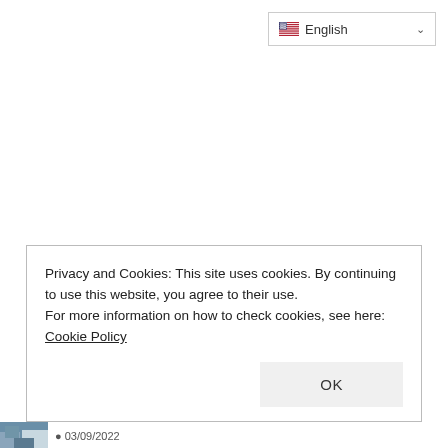[Figure (screenshot): Language selector dropdown showing English with US flag and chevron arrow]
Privacy and Cookies: This site uses cookies. By continuing to use this website, you agree to their use.
For more information on how to check cookies, see here: Cookie Policy
OK
[Figure (photo): Small thumbnail photo at bottom left]
03/09/2022